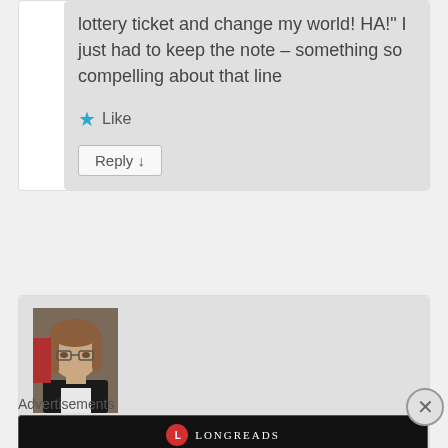lottery ticket and change my world! HA!" I just had to keep the note – something so compelling about that line
★ Like
Reply ↓
[Figure (photo): Profile photo of a woman with long brown hair and glasses]
syrynthevoice on 2012-12-12 at
Advertisements
[Figure (logo): Longreads advertisement banner with tagline 'Read anything great lately?']